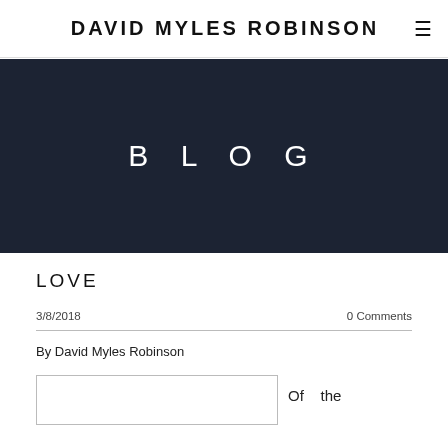DAVID MYLES ROBINSON
BLOG
LOVE
3/8/2018   0 Comments
By David Myles Robinson
Of   the